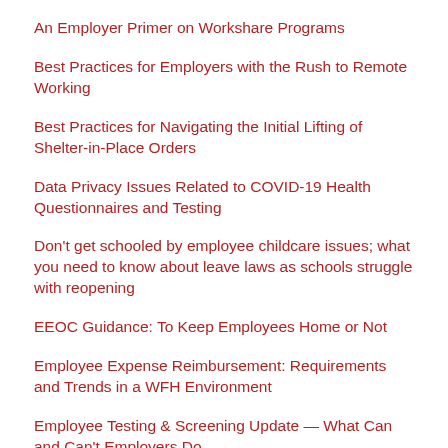An Employer Primer on Workshare Programs
Best Practices for Employers with the Rush to Remote Working
Best Practices for Navigating the Initial Lifting of Shelter-in-Place Orders
Data Privacy Issues Related to COVID-19 Health Questionnaires and Testing
Don't get schooled by employee childcare issues; what you need to know about leave laws as schools struggle with reopening
EEOC Guidance: To Keep Employees Home or Not
Employee Expense Reimbursement: Requirements and Trends in a WFH Environment
Employee Testing & Screening Update — What Can and Can't Employers Do